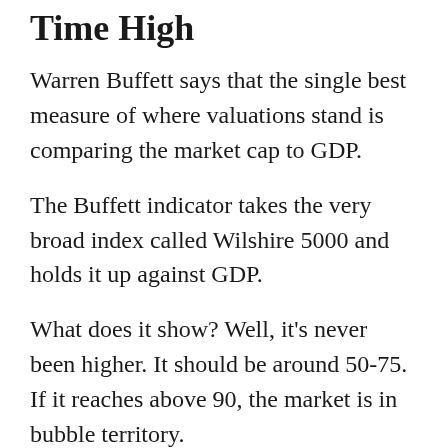Time High
Warren Buffett says that the single best measure of where valuations stand is comparing the market cap to GDP.
The Buffett indicator takes the very broad index called Wilshire 5000 and holds it up against GDP.
What does it show? Well, it's never been higher. It should be around 50-75. If it reaches above 90, the market is in bubble territory.
It's not only above 100 – it's around 200.